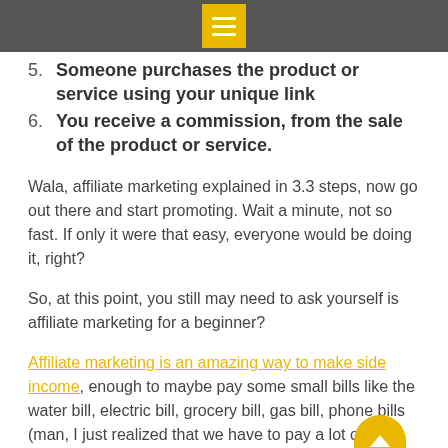Menu icon header bar
5. Someone purchases the product or service using your unique link
6. You receive a commission, from the sale of the product or service.
Wala, affiliate marketing explained in 3.3 steps, now go out there and start promoting. Wait a minute, not so fast. If only it were that easy, everyone would be doing it, right?
So, at this point, you still may need to ask yourself is affiliate marketing for a beginner?
Affiliate marketing is an amazing way to make side income, enough to maybe pay some small bills like the water bill, electric bill, grocery bill, gas bill, phone bills (man, I just realized that we have to pay a lot of bills) car maintenance bill and many other bills.